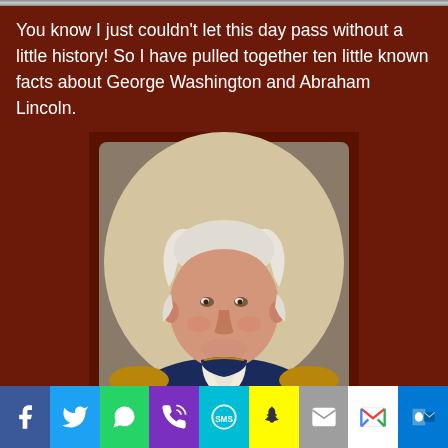You know I just couldn't let this day pass without a little history! So I have pulled together ten little known facts about George Washington and Abraham Lincoln.
[Figure (photo): Classical portrait painting of George Washington in military uniform, depicted in an oval frame with stone arch surround. He is shown from the chest up, wearing a blue and gold uniform with epaulettes, white cravat, and has white powdered hair.]
[Figure (infographic): Social media sharing bar at the bottom with icons for Facebook (blue), Twitter (light blue), WhatsApp (green), Phone/Call (purple), SMS (teal), Snapchat (yellow), Email (gray), Gmail (white/red), and Outlook (dark blue).]